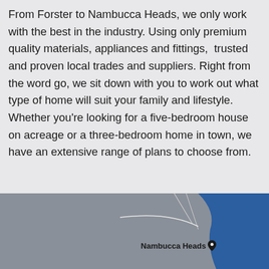From Forster to Nambucca Heads, we only work with the best in the industry. Using only premium quality materials, appliances and fittings,  trusted and proven local trades and suppliers. Right from the word go, we sit down with you to work out what type of home will suit your family and lifestyle. Whether you're looking for a five-bedroom house on acreage or a three-bedroom home in town, we have an extensive range of plans to choose from.
[Figure (map): Google Maps screenshot showing the coastal area of Nambucca Heads, with a map pin marker labeled 'Nambucca Heads'. The map shows grey land area on the left and dark blue ocean on the right.]